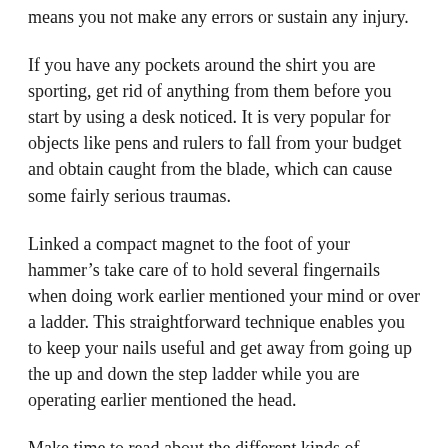means you not make any errors or sustain any injury.
If you have any pockets around the shirt you are sporting, get rid of anything from them before you start by using a desk noticed. It is very popular for objects like pens and rulers to fall from your budget and obtain caught from the blade, which can cause some fairly serious traumas.
Linked a compact magnet to the foot of your hammer’s take care of to hold several fingernails when doing work earlier mentioned your mind or over a ladder. This straightforward technique enables you to keep your nails useful and get away from going up the up and down the step ladder while you are operating earlier mentioned the head.
Make time to read about the different kinds of wooden and in which they may be used. Each kind of timber features its own advantages. For example, soft forests are usually less expensive even so, they tend to warp over time. Teak is an ideal